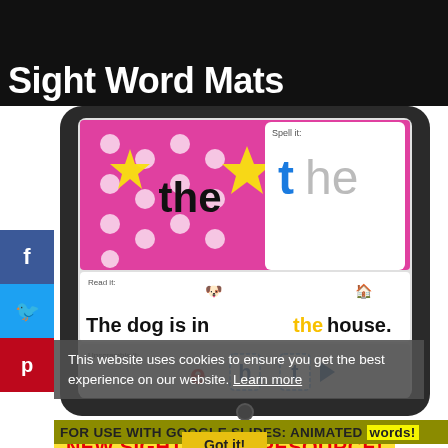Sight Word Mats
[Figure (screenshot): Tablet device showing a Sight Word Mat activity for the word 'the', with polka dot pink background, star decorations, spell it section, read it sentence, and unscramble it section]
This website uses cookies to ensure you get the best experience on our website. Learn more
FOR USE WITH GOOGLE SLIDES: ANIMATED words!
NEW SIGHT WORD RESOURCE!
Writing sight words is also important to help kids remember them. My newest Sight Word